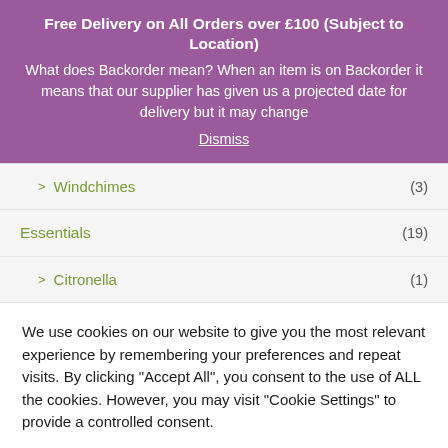Free Delivery on All Orders over £100 (Subject to Location)
What does Backorder mean? When an item is on Backorder it means that our supplier has given us a projected date for delivery but it may change
Dismiss
> Windchimes (3)
Essentials (19)
> Citronella (1)
We use cookies on our website to give you the most relevant experience by remembering your preferences and repeat visits. By clicking "Accept All", you consent to the use of ALL the cookies. However, you may visit "Cookie Settings" to provide a controlled consent.
Cookie Settings | Accept All